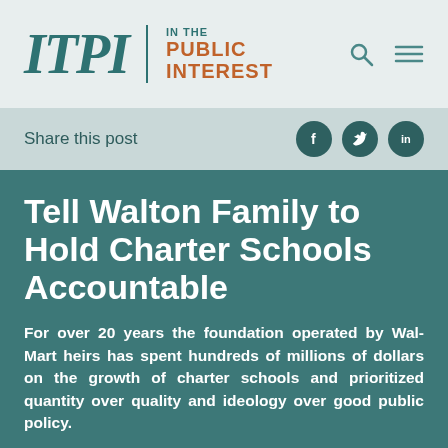ITPI IN THE PUBLIC INTEREST
Share this post
Tell Walton Family to Hold Charter Schools Accountable
For over 20 years the foundation operated by Wal-Mart heirs has spent hundreds of millions of dollars on the growth of charter schools and prioritized quantity over quality and ideology over good public policy.
Joe  | June 25, 2015